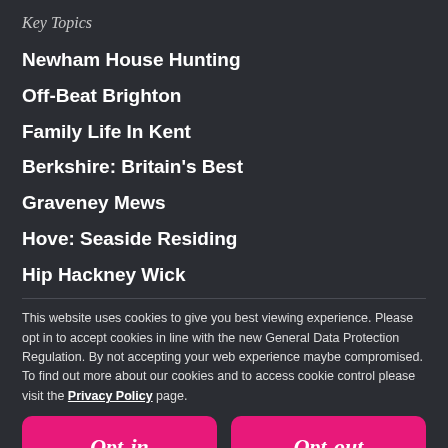Key Topics
Newham House Hunting
Off-Beat Brighton
Family Life In Kent
Berkshire: Britain's Best
Graveney Mews
Hove: Seaside Residing
Hip Hackney Wick
This website uses cookies to give you best viewing experience. Please opt in to accept cookies in line with the new General Data Protection Regulation. By not accepting your web experience maybe compromised. To find out more about our cookies and to access cookie control please visit the Privacy Policy page.
Opt-in
Opt-out